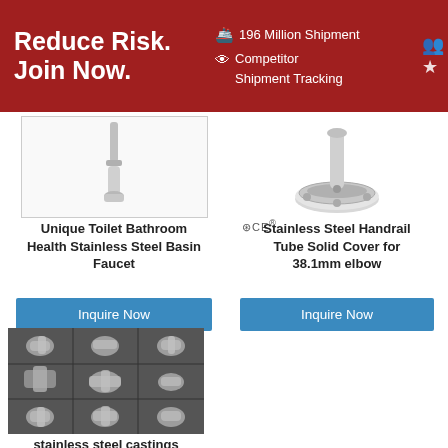Reduce Risk. Join Now. | 196 Million Shipment | Competitor Shipment Tracking
[Figure (photo): Stainless steel basin faucet product photo, partially cropped at top]
Unique Toilet Bathroom Health Stainless Steel Basin Faucet
Inquire Now
[Figure (photo): Stainless steel handrail tube solid cover for 38.1mm elbow, with certification icons (CE, RoHS)]
Stainless Steel Handrail Tube Solid Cover for 38.1mm elbow
Inquire Now
[Figure (photo): Stainless steel castings parts product - grid of 9 pipe fittings/connectors on dark background]
stainless steel castings parts product